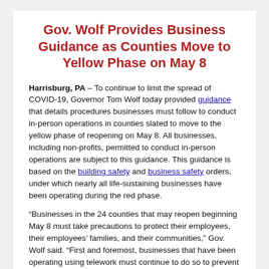Gov. Wolf Provides Business Guidance as Counties Move to Yellow Phase on May 8
Harrisburg, PA – To continue to limit the spread of COVID-19, Governor Tom Wolf today provided guidance that details procedures businesses must follow to conduct in-person operations in counties slated to move to the yellow phase of reopening on May 8. All businesses, including non-profits, permitted to conduct in-person operations are subject to this guidance. This guidance is based on the building safety and business safety orders, under which nearly all life-sustaining businesses have been operating during the red phase.
“Businesses in the 24 counties that may reopen beginning May 8 must take precautions to protect their employees, their employees’ families, and their communities,” Gov. Wolf said. “First and foremost, businesses that have been operating using telework must continue to do so to prevent the spreading of COVID-19 until the stay-at-home and business closure orders are fully lifted when we enter a “green” phase.
In counties that have been designated as in the yellow phase, all businesses, except those categories specifically listed as